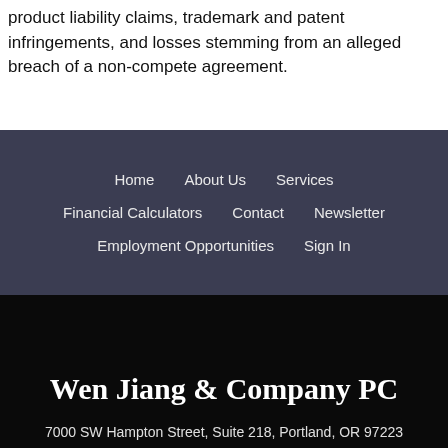product liability claims, trademark and patent infringements, and losses stemming from an alleged breach of a non-compete agreement.
Home | About Us | Services | Financial Calculators | Contact | Newsletter | Employment Opportunities | Sign In
Wen Jiang & Company PC
7000 SW Hampton Street, Suite 218, Portland, OR 97223